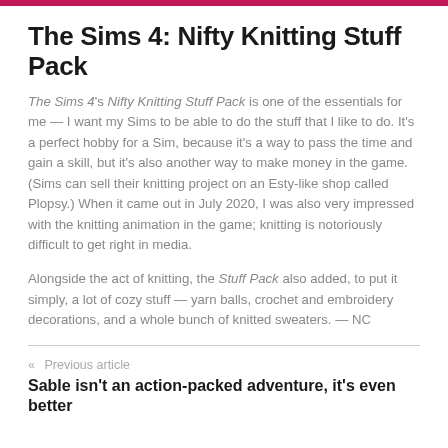The Sims 4: Nifty Knitting Stuff Pack
The Sims 4's Nifty Knitting Stuff Pack is one of the essentials for me — I want my Sims to be able to do the stuff that I like to do. It's a perfect hobby for a Sim, because it's a way to pass the time and gain a skill, but it's also another way to make money in the game. (Sims can sell their knitting project on an Esty-like shop called Plopsy.) When it came out in July 2020, I was also very impressed with the knitting animation in the game; knitting is notoriously difficult to get right in media.
Alongside the act of knitting, the Stuff Pack also added, to put it simply, a lot of cozy stuff — yarn balls, crochet and embroidery decorations, and a whole bunch of knitted sweaters. — NC
« Previous article
Sable isn't an action-packed adventure, it's even better